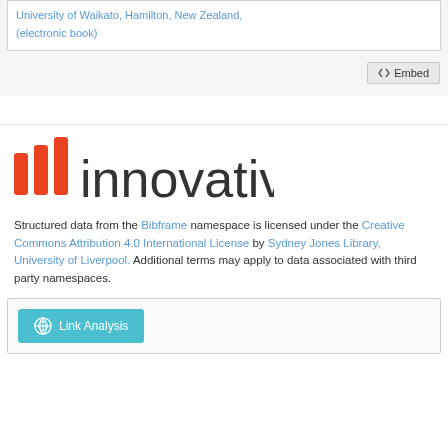University of Waikato, Hamilton, New Zealand, (electronic book)
Embed
[Figure (logo): Innovative Interfaces logo: three red/orange vertical bars followed by the word 'innovative' in dark gray sans-serif]
Structured data from the Bibframe namespace is licensed under the Creative Commons Attribution 4.0 International License by Sydney Jones Library, University of Liverpool. Additional terms may apply to data associated with third party namespaces.
Link Analysis